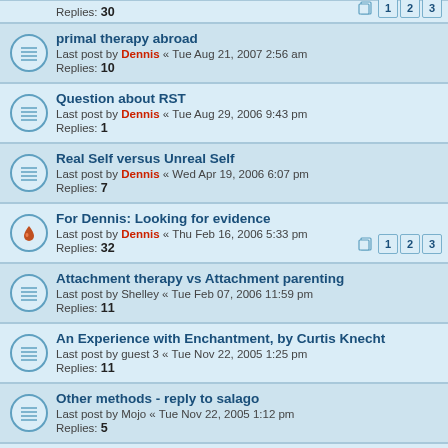Replies: 30 [pages 1 2 3]
primal therapy abroad
Last post by Dennis « Tue Aug 21, 2007 2:56 am
Replies: 10
Question about RST
Last post by Dennis « Tue Aug 29, 2006 9:43 pm
Replies: 1
Real Self versus Unreal Self
Last post by Dennis « Wed Apr 19, 2006 6:07 pm
Replies: 7
For Dennis: Looking for evidence
Last post by Dennis « Thu Feb 16, 2006 5:33 pm
Replies: 32 [pages 1 2 3]
Attachment therapy vs Attachment parenting
Last post by Shelley « Tue Feb 07, 2006 11:59 pm
Replies: 11
An Experience with Enchantment, by Curtis Knecht
Last post by guest 3 « Tue Nov 22, 2005 1:25 pm
Replies: 11
Other methods - reply to salago
Last post by Mojo « Tue Nov 22, 2005 1:12 pm
Replies: 5
primal-box
Last post by Branch Janovian « Tue Nov 22, 2005 1:05 pm
Replies: 11
And so life goes on
Last post by Dennis « Tue Nov 22, 2005 12:41 pm